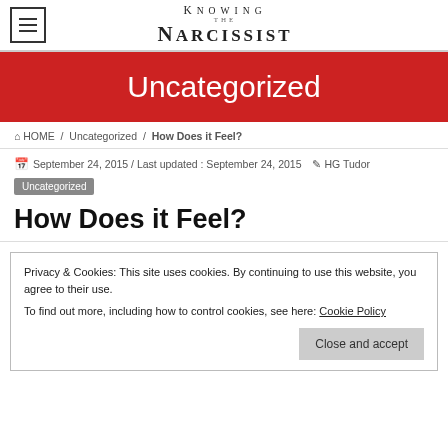Knowing The Narcissist
Uncategorized
HOME / Uncategorized / How Does it Feel?
September 24, 2015 / Last updated : September 24, 2015   HG Tudor
Uncategorized
How Does it Feel?
Privacy & Cookies: This site uses cookies. By continuing to use this website, you agree to their use.
To find out more, including how to control cookies, see here: Cookie Policy
Close and accept